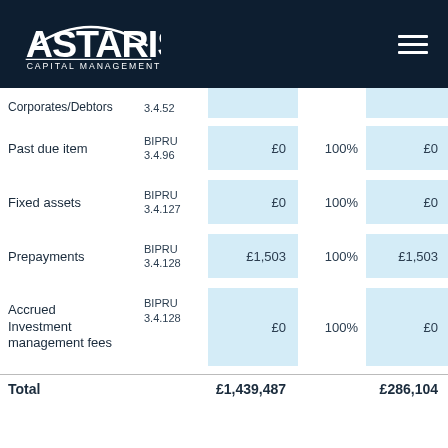Astaris Capital Management
|  | Ref | Value | % | Risk-weighted |
| --- | --- | --- | --- | --- |
| Corporates/Debtors | 3.4.52 |  |  |  |
| Past due item | BIPRU 3.4.96 | £0 | 100% | £0 |
| Fixed assets | BIPRU 3.4.127 | £0 | 100% | £0 |
| Prepayments | BIPRU 3.4.128 | £1,503 | 100% | £1,503 |
| Accrued Investment management fees | BIPRU 3.4.128 | £0 | 100% | £0 |
| Total |  | £1,439,487 |  | £286,104 |